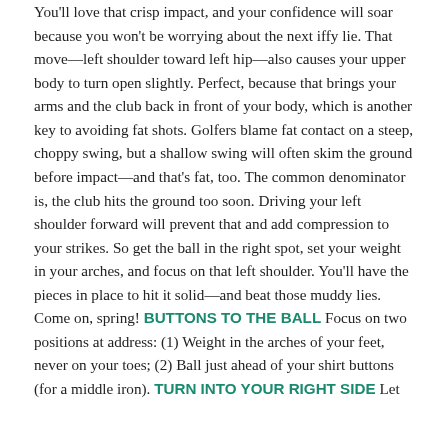You'll love that crisp impact, and your confidence will soar because you won't be worrying about the next iffy lie. That move—left shoulder toward left hip—also causes your upper body to turn open slightly. Perfect, because that brings your arms and the club back in front of your body, which is another key to avoiding fat shots. Golfers blame fat contact on a steep, choppy swing, but a shallow swing will often skim the ground before impact—and that's fat, too. The common denominator is, the club hits the ground too soon. Driving your left shoulder forward will prevent that and add compression to your strikes. So get the ball in the right spot, set your weight in your arches, and focus on that left shoulder. You'll have the pieces in place to hit it solid—and beat those muddy lies. Come on, spring! BUTTONS TO THE BALL Focus on two positions at address: (1) Weight in the arches of your feet, never on your toes; (2) Ball just ahead of your shirt buttons (for a middle iron). TURN INTO YOUR RIGHT SIDE Let